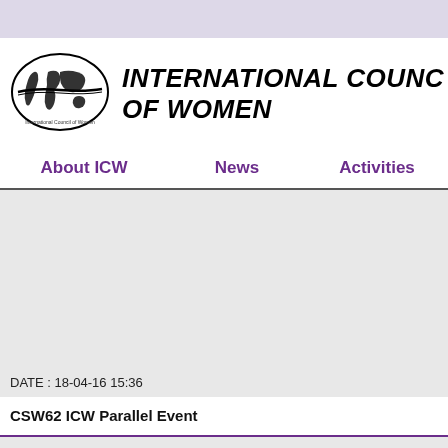[Figure (logo): International Council of Women logo — oval with world map and ribbon inside, black and white]
INTERNATIONAL COUNCIL OF WOMEN
About ICW   News   Activities
DATE : 18-04-16 15:36
CSW62 ICW Parallel Event
NAME : admin